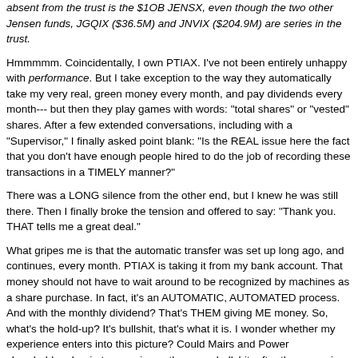absent from the trust is the $1OB JENSX, even though the two other Jensen funds, JGQIX ($36.5M) and JNVIX ($204.9M) are series in the trust.
Hmmmmm. Coincidentally, I own PTIAX. I've not been entirely unhappy with performance. But I take exception to the way they automatically take my very real, green money every month, and pay dividends every month--- but then they play games with words: "total shares" or "vested" shares. After a few extended conversations, including with a "Supervisor," I finally asked point blank: "Is the REAL issue here the fact that you don't have enough people hired to do the job of recording these transactions in a TIMELY manner?"
There was a LONG silence from the other end, but I knew he was still there. Then I finally broke the tension and offered to say: "Thank you. THAT tells me a great deal."
What gripes me is that the automatic transfer was set up long ago, and continues, every month. PTIAX is taking it from my bank account. That money should not have to wait around to be recognized by machines as a share purchase. In fact, it's an AUTOMATIC, AUTOMATED process. And with the monthly dividend? That's THEM giving ME money. So, what's the hold-up? It's bullshit, that's what it is. I wonder whether my experience enters into this picture? Could Mairs and Power shareholders begin to experience the same bullshit, after the upcoming switch of Trustee? @msf.